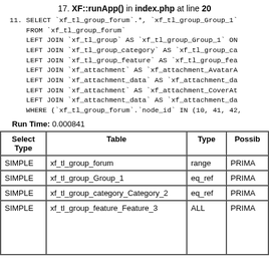17. XF::runApp() in index.php at line 20
11. SELECT `xf_tl_group_forum`.*, `xf_tl_group_Group_1`
    FROM `xf_tl_group_forum`
    LEFT JOIN `xf_tl_group` AS `xf_tl_group_Group_1` ON
    LEFT JOIN `xf_tl_group_category` AS `xf_tl_group_ca
    LEFT JOIN `xf_tl_group_feature` AS `xf_tl_group_fea
    LEFT JOIN `xf_attachment` AS `xf_attachment_AvatarA
    LEFT JOIN `xf_attachment_data` AS `xf_attachment_da
    LEFT JOIN `xf_attachment` AS `xf_attachment_CoverAt
    LEFT JOIN `xf_attachment_data` AS `xf_attachment_da
    WHERE (`xf_tl_group_forum`.`node_id` IN (10, 41, 42,
Run Time: 0.000841
| Select Type | Table | Type | Possib |
| --- | --- | --- | --- |
| SIMPLE | xf_tl_group_forum | range | PRIMA |
| SIMPLE | xf_tl_group_Group_1 | eq_ref | PRIMA |
| SIMPLE | xf_tl_group_category_Category_2 | eq_ref | PRIMA |
| SIMPLE | xf_tl_group_feature_Feature_3 | ALL | PRIMA |